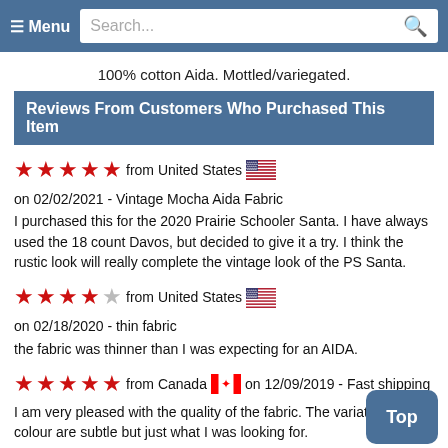≡ Menu   Search...
100% cotton Aida. Mottled/variegated.
Reviews From Customers Who Purchased This Item
★★★★★ from United States 🇺🇸 on 02/02/2021 - Vintage Mocha Aida Fabric
I purchased this for the 2020 Prairie Schooler Santa. I have always used the 18 count Davos, but decided to give it a try. I think the rustic look will really complete the vintage look of the PS Santa.
★★★★☆ from United States 🇺🇸 on 02/18/2020 - thin fabric
the fabric was thinner than I was expecting for an AIDA.
★★★★★ from Canada 🇨🇦 on 12/09/2019 - Fast shipping
I am very pleased with the quality of the fabric. The variations in colour are subtle but just what I was looking for.
★★★★★ from United States 🇺🇸 on 01/09/2019
nice
great quality and nice dye job.also shipped and received very